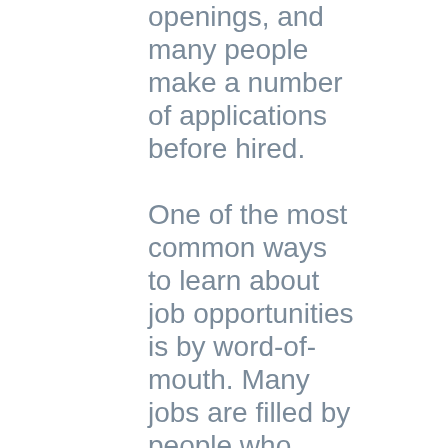openings, and many people make a number of applications before hired. One of the most common ways to learn about job opportunities is by word-of-mouth. Many jobs are filled by people who have heard of the job openings from friends, relatives, teachers, and acquaintances.